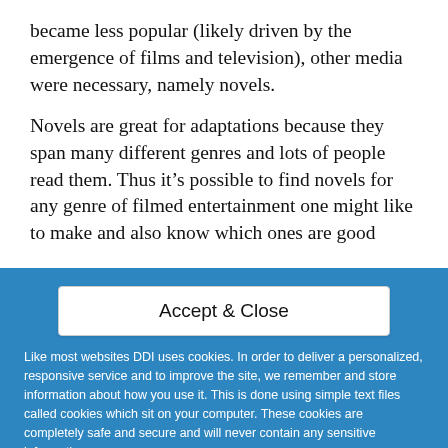became less popular (likely driven by the emergence of films and television), other media were necessary, namely novels.
Novels are great for adaptations because they span many different genres and lots of people read them. Thus it's possible to find novels for any genre of filmed entertainment one might like to make and also know which ones are good
[Figure (screenshot): Cookie consent banner with 'Accept & Close' button and cookie policy text on blue background]